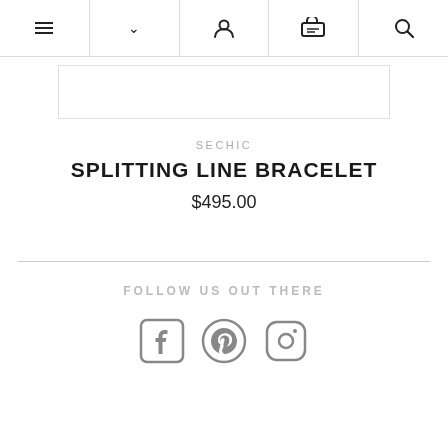Navigation bar with menu, dropdown, user, cart, and search icons
[Figure (photo): Product image placeholder box]
SECHIC
SPLITTING LINE BRACELET
$495.00
FOLLOW US OUT THERE
[Figure (illustration): Social media icons: Facebook, Pinterest, Instagram]